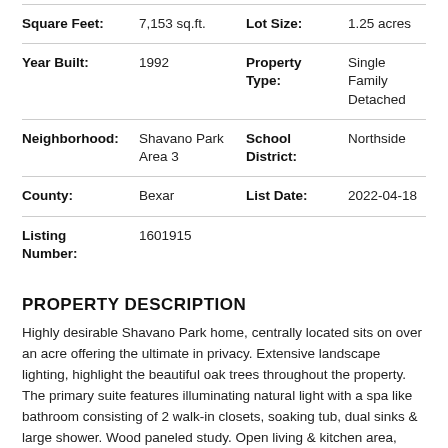| Square Feet: | 7,153 sq.ft. | Lot Size: | 1.25 acres |
| Year Built: | 1992 | Property Type: | Single Family Detached |
| Neighborhood: | Shavano Park Area 3 | School District: | Northside |
| County: | Bexar | List Date: | 2022-04-18 |
| Listing Number: | 1601915 |  |  |
PROPERTY DESCRIPTION
Highly desirable Shavano Park home, centrally located sits on over an acre offering the ultimate in privacy. Extensive landscape lighting, highlight the beautiful oak trees throughout the property. The primary suite features illuminating natural light with a spa like bathroom consisting of 2 walk-in closets, soaking tub, dual sinks & large shower. Wood paneled study. Open living & kitchen area,